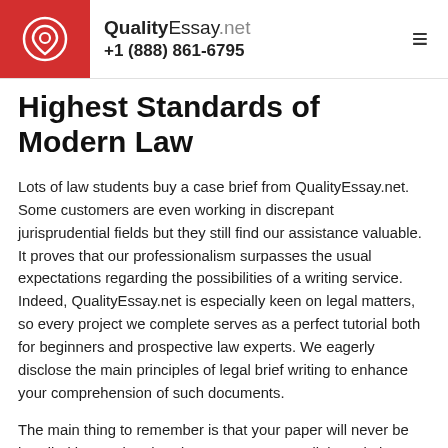QualityEssay.net +1 (888) 861-6795
Highest Standards of Modern Law
Lots of law students buy a case brief from QualityEssay.net. Some customers are even working in discrepant jurisprudential fields but they still find our assistance valuable. It proves that our professionalism surpasses the usual expectations regarding the possibilities of a writing service. Indeed, QualityEssay.net is especially keen on legal matters, so every project we complete serves as a perfect tutorial both for beginners and prospective law experts. We eagerly disclose the main principles of legal brief writing to enhance your comprehension of such documents.
The main thing to remember is that your paper will never be handled by a writer that does not possess a diploma in law. We can work with any legal matters,